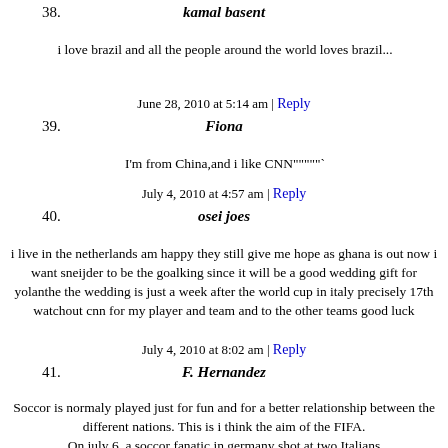38. kamal basent
i love brazil and all the people around the world loves brazil...
June 28, 2010 at 5:14 am | Reply
39. Fiona
I'm from China,and i like CNN"""""
July 4, 2010 at 4:57 am | Reply
40. osei joes
i live in the netherlands am happy they still give me hope as ghana is out now i want sneijder to be the goalking since it will be a good wedding gift for yolanthe the wedding is just a week after the world cup in italy precisely 17th watchout cnn for my player and team and to the other teams good luck
July 4, 2010 at 8:02 am | Reply
41. F. Hernandez
Soccor is normaly played just for fun and for a better relationship between the different nations. This is i think the aim of the FIFA.
On july 6, a soccor fanatic in germany shot at two Italians